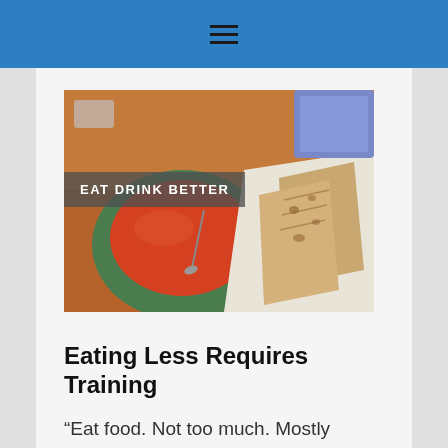[Figure (photo): Photo of a bowl of tomato soup and a grilled cheese sandwich on a table, with the overlay text 'EAT DRINK BETTER']
Eating Less Requires Training
“Eat food. Not too much. Mostly plants,” says Michael Pollan. While I’m pretty good at eating real, non-processed food and basing my diet